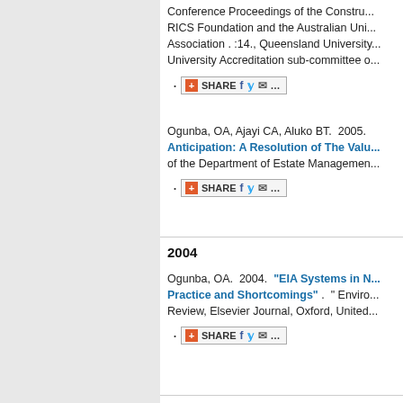Conference Proceedings of the Constru... RICS Foundation and the Australian Uni... Association . :14., Queensland University... University Accreditation sub-committee o...
[SHARE button]
Ogunba, OA, Ajayi CA, Aluko BT.  2005. Anticipation: A Resolution of The Valu... of the Department of Estate Managemen...
[SHARE button]
2004
Ogunba, OA.  2004.  "EIA Systems in N... Practice and Shortcomings" . " Enviro... Review, Elsevier Journal, Oxford, United...
[SHARE button]
2002